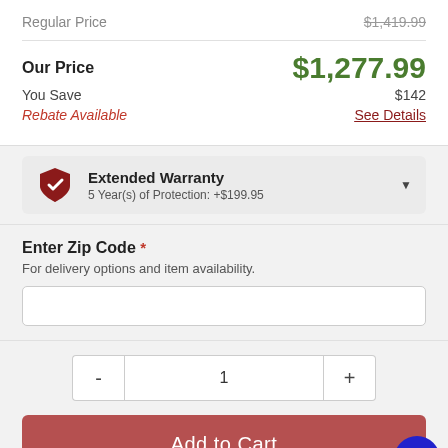Regular Price  $1,419.99
Our Price  $1,277.99
You Save  $142
Rebate Available  See Details
Extended Warranty  5 Year(s) of Protection: +$199.95
Enter Zip Code * For delivery options and item availability.
1
Add to Cart